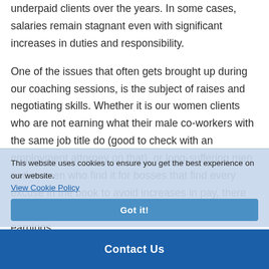underpaid clients over the years. In some cases, salaries remain stagnant even with significant increases in duties and responsibility.
One of the issues that often gets brought up during our coaching sessions, is the subject of raises and negotiating skills. Whether it is our women clients who are not earning what their male co-workers with the same job title do (good to check with an employment attorney on that), or long-suffering men and women who find it for bosses that find every excuse in the book to avoid increases in pay, there are positive steps you can take to increase your earnings.
This website uses cookies to ensure you get the best experience on our website.
View Cookie Policy
Got it!
Contact Us